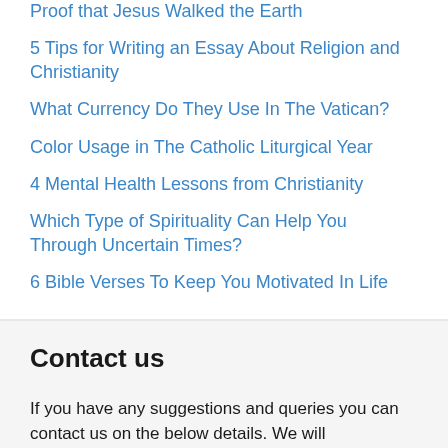Proof that Jesus Walked the Earth
5 Tips for Writing an Essay About Religion and Christianity
What Currency Do They Use In The Vatican?
Color Usage in The Catholic Liturgical Year
4 Mental Health Lessons from Christianity
Which Type of Spirituality Can Help You Through Uncertain Times?
6 Bible Verses To Keep You Motivated In Life
Contact us
If you have any suggestions and queries you can contact us on the below details. We will